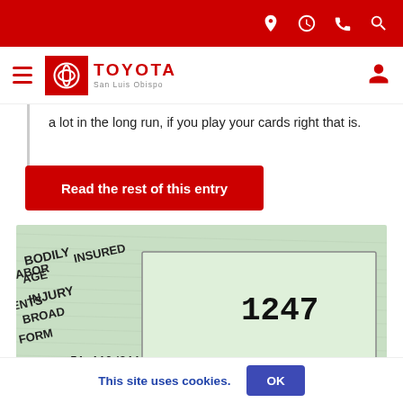Toyota San Luis Obispo - website header with navigation icons
a lot in the long run, if you play your cards right that is.
Read the rest of this entry
[Figure (photo): Close-up photo of an insurance document/check showing text including 'BODILY INJURY BROAD FORM', 'INSURED', 'LABOR', 'NTS', number '1247', and '51-110/211']
This site uses cookies.
OK